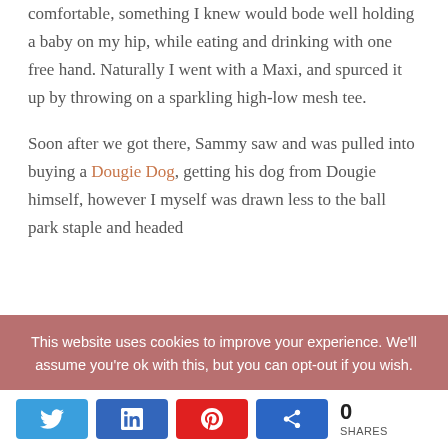comfortable, something I knew would bode well holding a baby on my hip, while eating and drinking with one free hand. Naturally I went with a Maxi, and spurced it up by throwing on a sparkling high-low mesh tee.
Soon after we got there, Sammy saw and was pulled into buying a Dougie Dog, getting his dog from Dougie himself, however I myself was drawn less to the ball park staple and headed
This website uses cookies to improve your experience. We'll assume you're ok with this, but you can opt-out if you wish.